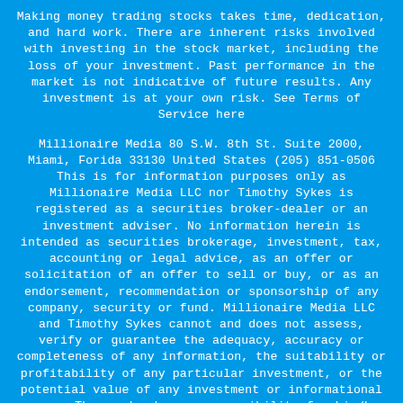Making money trading stocks takes time, dedication, and hard work. There are inherent risks involved with investing in the stock market, including the loss of your investment. Past performance in the market is not indicative of future results. Any investment is at your own risk. See Terms of Service here
Millionaire Media 80 S.W. 8th St. Suite 2000, Miami, Forida 33130 United States (205) 851-0506 This is for information purposes only as Millionaire Media LLC nor Timothy Sykes is registered as a securities broker-dealer or an investment adviser. No information herein is intended as securities brokerage, investment, tax, accounting or legal advice, as an offer or solicitation of an offer to sell or buy, or as an endorsement, recommendation or sponsorship of any company, security or fund. Millionaire Media LLC and Timothy Sykes cannot and does not assess, verify or guarantee the adequacy, accuracy or completeness of any information, the suitability or profitability of any particular investment, or the potential value of any investment or informational source. The reader bears responsibility for his/her own investment research and decisions, should seek the advice of a qualified securities professional before making any investment, and investigate and fully understand any and all risks before investing. Millionaire Media LLC and Timothy Sykes in no way warrants the